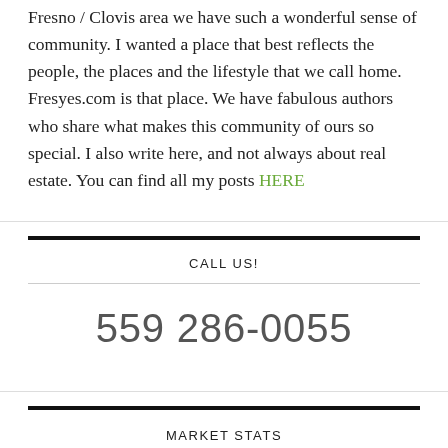Fresno / Clovis area we have such a wonderful sense of community. I wanted a place that best reflects the people, the places and the lifestyle that we call home. Fresyes.com is that place. We have fabulous authors who share what makes this community of ours so special. I also write here, and not always about real estate. You can find all my posts HERE
CALL US!
559 286-0055
MARKET STATS